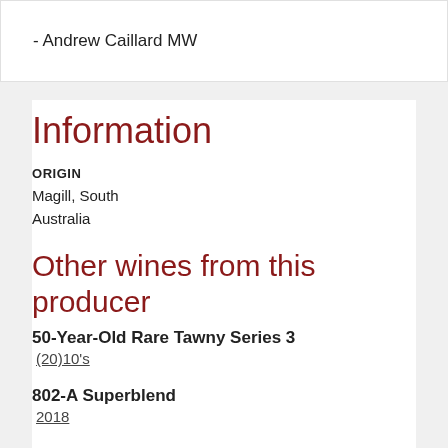- Andrew Caillard MW
Information
ORIGIN
Magill, South Australia
Other wines from this producer
50-Year-Old Rare Tawny Series 3
(20)10's
802-A Superblend
2018